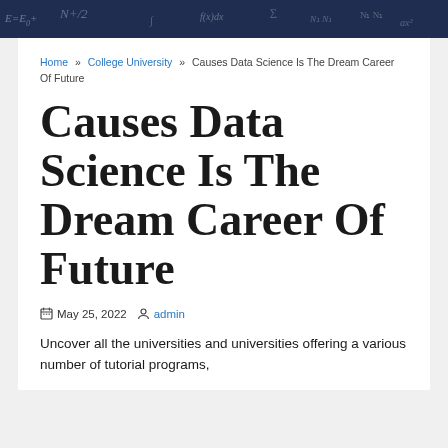[Figure (photo): Dark navy blue banner with mathematical equations and formulas written in chalk style]
Home » College University » Causes Data Science Is The Dream Career Of Future
Causes Data Science Is The Dream Career Of Future
May 25, 2022  admin
Uncover all the universities and universities offering a various number of tutorial programs,